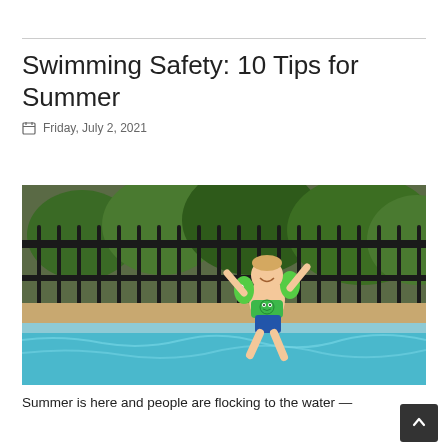Swimming Safety: 10 Tips for Summer
Friday, July 2, 2021
[Figure (photo): A young child wearing green arm floaties and a green swimsuit, jumping happily near the edge of a swimming pool, with an iron fence and green trees in the background.]
Summer is here and people are flocking to the water —